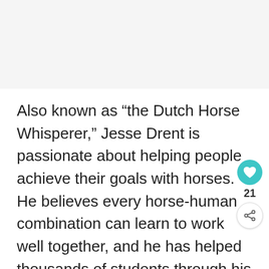[Figure (other): Gray placeholder/banner area at top of page]
Also known as “the Dutch Horse Whisperer,” Jesse Drent is passionate about helping people achieve their goals with horses. He believes every horse-human combination can learn to work well together, and he has helped thousands of students through his lesson program.
“I really like that I get to work with such a variety of horses, including my own amazing